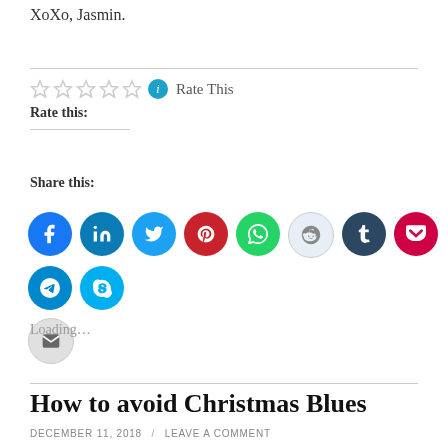XoXo, Jasmin.
Rate this:
Share this:
[Figure (infographic): A row of social media share icon circles: Facebook (blue), LinkedIn (blue), Twitter (light blue), Pinterest (red), WhatsApp (green), Reddit (light grey), Tumblr (dark navy), Pocket (dark red), Telegram (blue), Skype (light blue), and Email (light grey).]
Loading…
How to avoid Christmas Blues
DECEMBER 11, 2018 / LEAVE A COMMENT